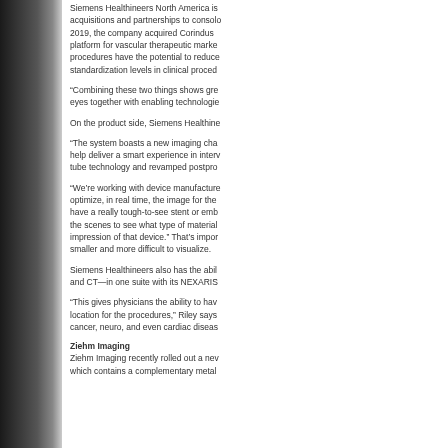Siemens Healthineers North America is acquisitions and partnerships to consolidate. 2019, the company acquired Corindus platform for vascular therapeutic market procedures have the potential to reduce standardization levels in clinical procedures.
“Combining these two things shows great eyes together with enabling technologies
On the product side, Siemens Healthineers
“The system boasts a new imaging chain help deliver a smart experience in interventional procedures tube technology and revamped postprocessing
“We’re working with device manufacturers to optimize, in real time, the image for the device. If you have a really tough-to-see stent or embolic device, we work behind the scenes to see what type of material it is and get the best impression of that device.” That’s important as devices get smaller and more difficult to visualize.
Siemens Healthineers also has the ability to combine fluoroscopy and CT—in one suite with its NEXARIS
“This gives physicians the ability to have the best location for the procedures,” Riley says. These include cancer, neuro, and even cardiac disease
Ziehm Imaging
Ziehm Imaging recently rolled out a new which contains a complementary metal